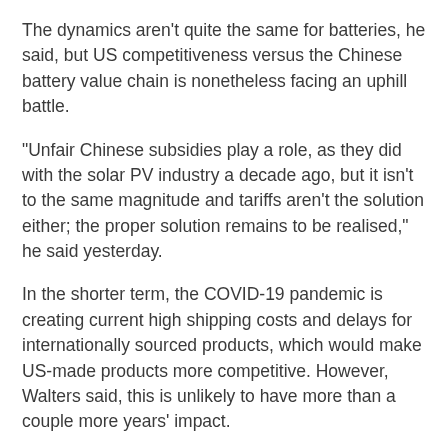The dynamics aren't quite the same for batteries, he said, but US competitiveness versus the Chinese battery value chain is nonetheless facing an uphill battle.
“Unfair Chinese subsidies play a role, as they did with the solar PV industry a decade ago, but it isn’t to the same magnitude and tariffs aren’t the solution either; the proper solution remains to be realised,” he said yesterday.
In the shorter term, the COVID-19 pandemic is creating current high shipping costs and delays for internationally sourced products, which would make US-made products more competitive. However, Walters said, this is unlikely to have more than a couple more years’ impact.
“By the time new government-subsidised plants are up and running, global shipping costs will be back down to near pre-pandemic levels.”
In the rush to bring battery manufacturing, materials